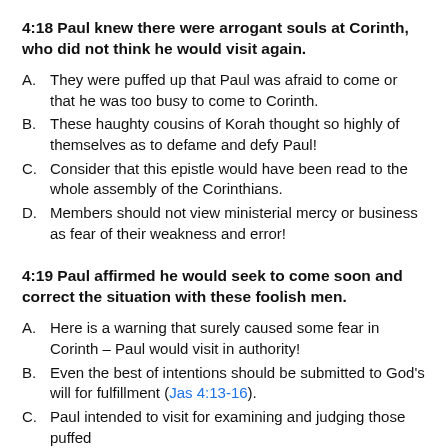4:18 Paul knew there were arrogant souls at Corinth, who did not think he would visit again.
A. They were puffed up that Paul was afraid to come or that he was too busy to come to Corinth.
B. These haughty cousins of Korah thought so highly of themselves as to defame and defy Paul!
C. Consider that this epistle would have been read to the whole assembly of the Corinthians.
D. Members should not view ministerial mercy or business as fear of their weakness and error!
4:19 Paul affirmed he would seek to come soon and correct the situation with these foolish men.
A. Here is a warning that surely caused some fear in Corinth – Paul would visit in authority!
B. Even the best of intentions should be submitted to God's will for fulfillment (Jas 4:13-16).
C. Paul intended to visit for examining and judging those puffed